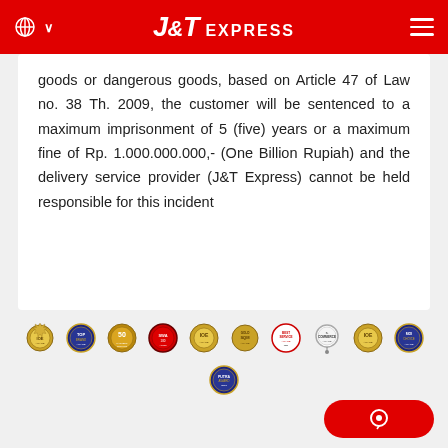J&T Express
goods or dangerous goods, based on Article 47 of Law no. 38 Th. 2009, the customer will be sentenced to a maximum imprisonment of 5 (five) years or a maximum fine of Rp. 1.000.000.000,- (One Billion Rupiah) and the delivery service provider (J&T Express) cannot be held responsible for this incident
[Figure (logo): Row of award and certification badge logos in the footer area of the J&T Express website]